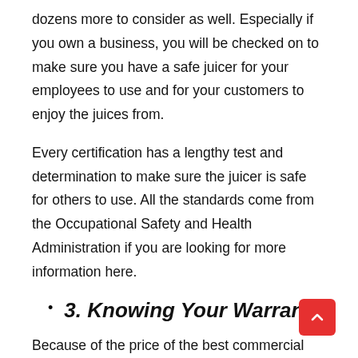dozens more to consider as well. Especially if you own a business, you will be checked on to make sure you have a safe juicer for your employees to use and for your customers to enjoy the juices from.
Every certification has a lengthy test and determination to make sure the juicer is safe for others to use. All the standards come from the Occupational Safety and Health Administration if you are looking for more information here.
3. Knowing Your Warranty
Because of the price of the best commercial juicer, it is important to have a warranty to save you in the long run. Having a protection plan for your juicer is crucial. Warranties are far and wide. With this in mind, warranties usually are more prevalent for high-end, commercial juicers. The warranties can range from a few months up to 10-years.